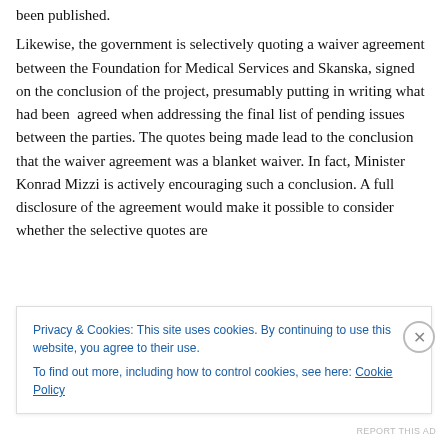been published.
Likewise, the government is selectively quoting a waiver agreement between the Foundation for Medical Services and Skanska, signed on the conclusion of the project, presumably putting in writing what had been agreed when addressing the final list of pending issues between the parties. The quotes being made lead to the conclusion that the waiver agreement was a blanket waiver. In fact, Minister Konrad Mizzi is actively encouraging such a conclusion. A full disclosure of the agreement would make it possible to consider whether the selective quotes are
Privacy & Cookies: This site uses cookies. By continuing to use this website, you agree to their use.
To find out more, including how to control cookies, see here: Cookie Policy
Close and accept